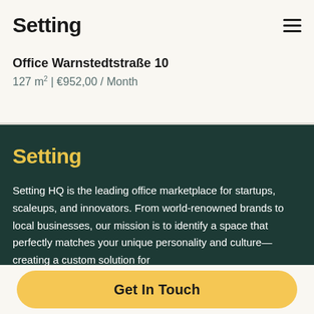Setting
Office Warnstedtstraße 10
127 m² | €952,00 / Month
Setting
Setting HQ is the leading office marketplace for startups, scaleups, and innovators. From world-renowned brands to local businesses, our mission is to identify a space that perfectly matches your unique personality and culture—creating a custom solution for
Get In Touch